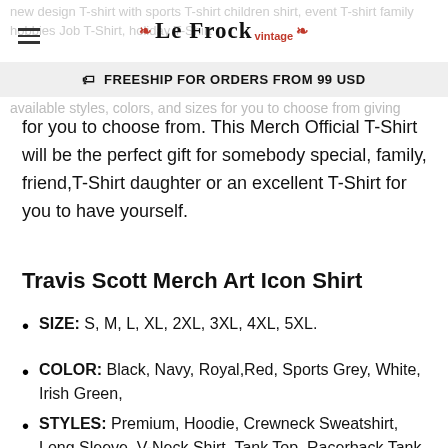Le Frock vintage
🏷 FREESHIP FOR ORDERS FROM 99 USD
for you to choose from. This Merch Official T-Shirt will be the perfect gift for somebody special, family, friend,T-Shirt daughter or an excellent T-Shirt for you to have yourself.
Travis Scott Merch Art Icon Shirt
SIZE: S, M, L, XL, 2XL, 3XL, 4XL, 5XL.
COLOR: Black, Navy, Royal,Red, Sports Grey, White, Irish Green,
STYLES: Premium, Hoodie, Crewneck Sweatshirt, Long Sleeve, V-Neck Shirt, Tank Top, Racerback Tank,